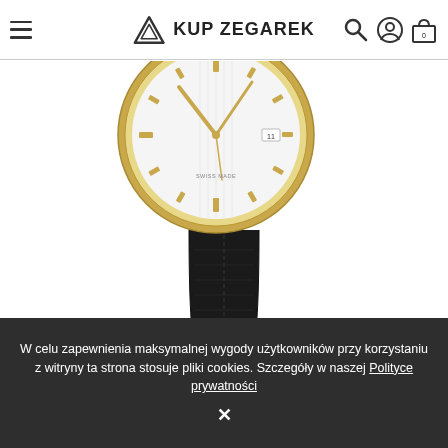KUP ZEGAREK
[Figure (photo): A luxury wristwatch with a gold case, white dial with gold hour markers and hands, and a black leather strap with crocodile texture pattern.]
W celu zapewnienia maksymalnej wygody użytkowników przy korzystaniu z witryny ta strona stosuje pliki cookies. Szczegóły w naszej Polityce prywatności ✕